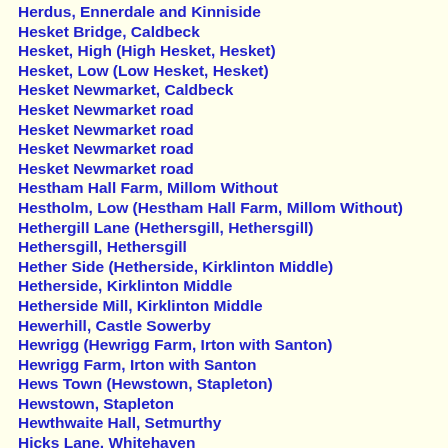Herdus, Ennerdale and Kinniside
Hesket Bridge, Caldbeck
Hesket, High (High Hesket, Hesket)
Hesket, Low (Low Hesket, Hesket)
Hesket Newmarket, Caldbeck
Hesket Newmarket road
Hesket Newmarket road
Hesket Newmarket road
Hesket Newmarket road
Hestham Hall Farm, Millom Without
Hestholm, Low (Hestham Hall Farm, Millom Without)
Hethergill Lane (Hethersgill, Hethersgill)
Hethersgill, Hethersgill
Hether Side (Hetherside, Kirklinton Middle)
Hetherside, Kirklinton Middle
Hetherside Mill, Kirklinton Middle
Hewerhill, Castle Sowerby
Hewrigg (Hewrigg Farm, Irton with Santon)
Hewrigg Farm, Irton with Santon
Hews Town (Hewstown, Stapleton)
Hewstown, Stapleton
Hewthwaite Hall, Setmurthy
Hicks Lane, Whitehaven
Hicks's Lane (Hicks Lane, Whitehaven)
High (Bawd Hall, Above Derwent)